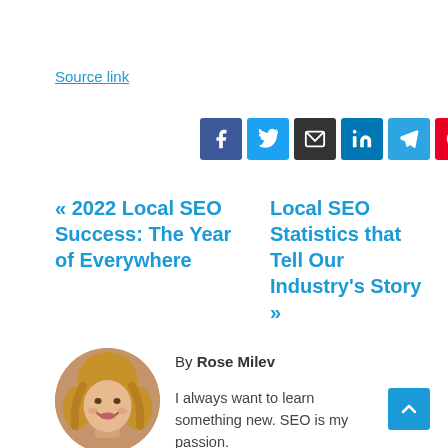Source link
[Figure (infographic): Social sharing buttons: Facebook, Twitter, Email, LinkedIn, Telegram, Pinterest]
« 2022 Local SEO Success: The Year of Everywhere
Local SEO Statistics that Tell Our Industry's Story »
By Rose Milev
[Figure (photo): Circular portrait photo of Rose Milev, a woman with blonde/light brown hair, smiling]
I always want to learn something new. SEO is my passion.